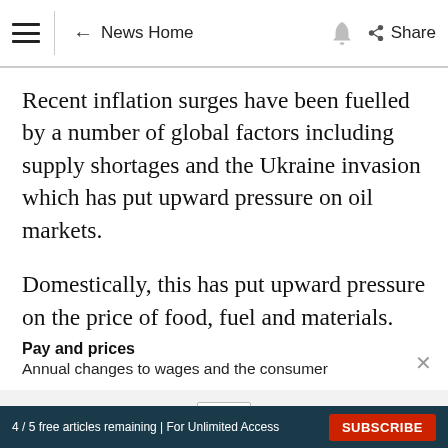≡  ← News Home  🔔  Share
Recent inflation surges have been fuelled by a number of global factors including supply shortages and the Ukraine invasion which has put upward pressure on oil markets.
Domestically, this has put upward pressure on the price of food, fuel and materials.
Pay and prices
Annual changes to wages and the consumer
4 / 5 free articles remaining | For Unlimited Access   SUBSCRIBE